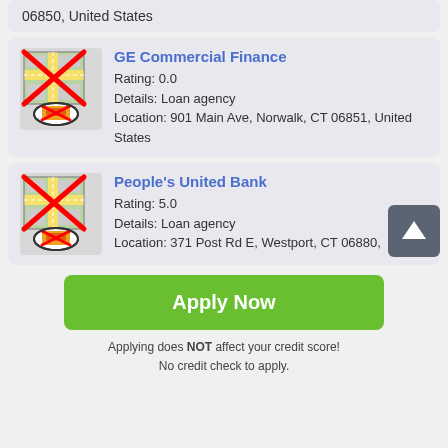06850, United States
GE Commercial Finance
Rating: 0.0
Details: Loan agency
Location: 901 Main Ave, Norwalk, CT 06851, United States
People's United Bank
Rating: 5.0
Details: Loan agency
Location: 371 Post Rd E, Westport, CT 06880,
Apply Now
Applying does NOT affect your credit score!
No credit check to apply.